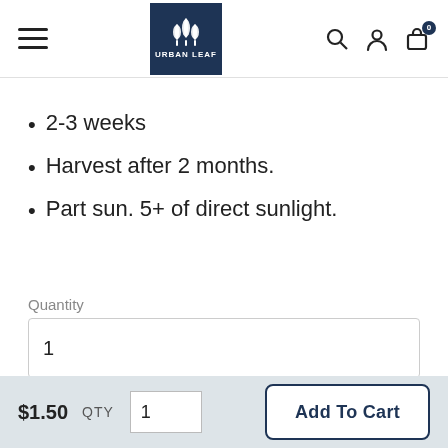Urban Leaf - Navigation header with logo, search, account, and cart icons
2-3 weeks
Harvest after 2 months.
Part sun. 5+ of direct sunlight.
Quantity
1
$1.50  QTY  1  Add To Cart